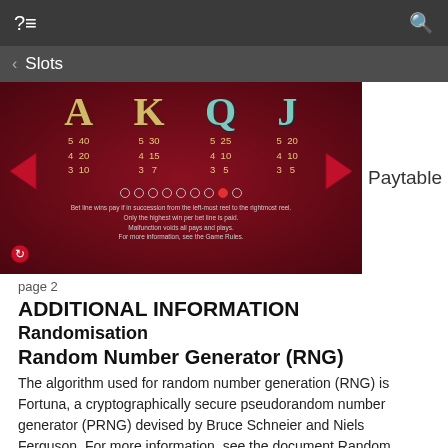?≡   🔍
< Slots
[Figure (screenshot): Slot game paytable showing card symbols A, K, Q, J on a dark red background with payout values, navigation arrows, pagination dots, and small footnote text. Label 'Paytable' appears to the right.]
page 2
ADDITIONAL INFORMATION
Randomisation
Random Number Generator (RNG)
The algorithm used for random number generation (RNG) is Fortuna, a cryptographically secure pseudorandom number generator (PRNG) devised by Bruce Schneier and Niels Ferguson. For more information, see the document Random